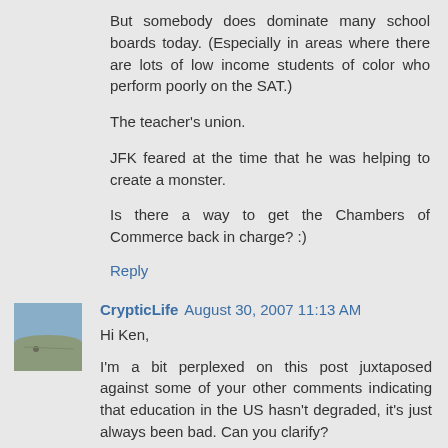But somebody does dominate many school boards today. (Especially in areas where there are lots of low income students of color who perform poorly on the SAT.)
The teacher's union.
JFK feared at the time that he was helping to create a monster.
Is there a way to get the Chambers of Commerce back in charge? :)
Reply
[Figure (photo): Small avatar photo of user CrypticLife, appears to show an outdoor/nature scene]
CrypticLife August 30, 2007 11:13 AM
Hi Ken,
I'm a bit perplexed on this post juxtaposed against some of your other comments indicating that education in the US hasn't degraded, it's just always been bad. Can you clarify?
Reply